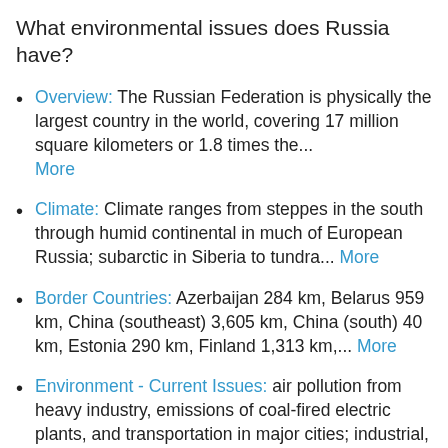What environmental issues does Russia have?
Overview: The Russian Federation is physically the largest country in the world, covering 17 million square kilometers or 1.8 times the... More
Climate: Climate ranges from steppes in the south through humid continental in much of European Russia; subarctic in Siberia to tundra... More
Border Countries: Azerbaijan 284 km, Belarus 959 km, China (southeast) 3,605 km, China (south) 40 km, Estonia 290 km, Finland 1,313 km,... More
Environment - Current Issues: air pollution from heavy industry, emissions of coal-fired electric plants, and transportation in major cities; industrial, municipal, and agricultural pollution... More